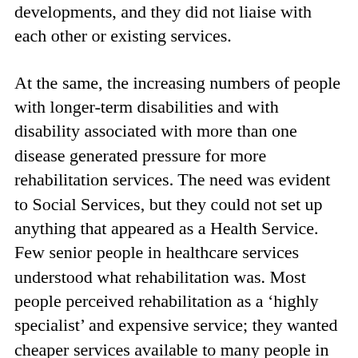developments, and they did not liaise with each other or existing services.
At the same, the increasing numbers of people with longer-term disabilities and with disability associated with more than one disease generated pressure for more rehabilitation services. The need was evident to Social Services, but they could not set up anything that appeared as a Health Service. Few senior people in healthcare services understood what rehabilitation was. Most people perceived rehabilitation as a ‘highly specialist’ and expensive service; they wanted cheaper services available to many people in the